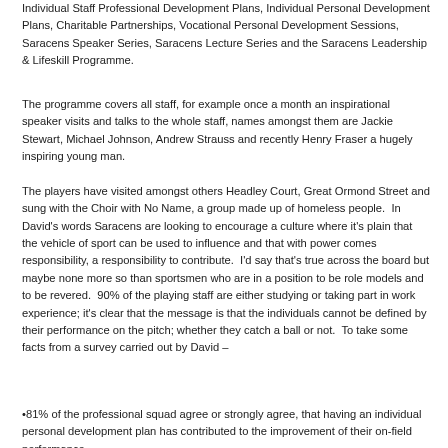Individual Staff Professional Development Plans, Individual Personal Development Plans, Charitable Partnerships, Vocational Personal Development Sessions, Saracens Speaker Series, Saracens Lecture Series and the Saracens Leadership & Lifeskill Programme.
The programme covers all staff, for example once a month an inspirational speaker visits and talks to the whole staff, names amongst them are Jackie Stewart, Michael Johnson, Andrew Strauss and recently Henry Fraser a hugely inspiring young man.
The players have visited amongst others Headley Court, Great Ormond Street and sung with the Choir with No Name, a group made up of homeless people. In David's words Saracens are looking to encourage a culture where it's plain that the vehicle of sport can be used to influence and that with power comes responsibility, a responsibility to contribute. I'd say that's true across the board but maybe none more so than sportsmen who are in a position to be role models and to be revered. 90% of the playing staff are either studying or taking part in work experience; it's clear that the message is that the individuals cannot be defined by their performance on the pitch; whether they catch a ball or not. To take some facts from a survey carried out by David –
•81% of the professional squad agree or strongly agree, that having an individual personal development plan has contributed to the improvement of their on-field performance.